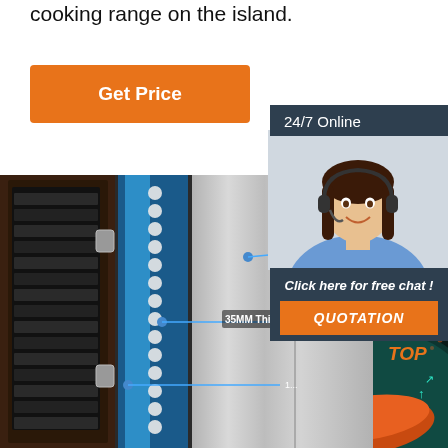cooking range on the island.
Get Price
24/7 Online
[Figure (photo): Customer service representative with headset, smiling]
Click here for free chat !
QUOTATION
[Figure (photo): Industrial food dehydrator/steamer cabinet with LED light strip and stainless steel door panel. Callout labels: No finger... and 35MM Thicke...]
[Figure (infographic): Circle diagram showing shoe sole cross-section with TOP label and teal arrows indicating top layer heat flow]